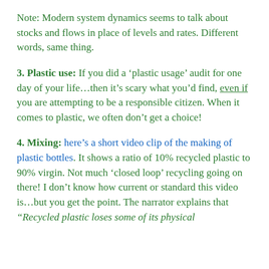Note: Modern system dynamics seems to talk about stocks and flows in place of levels and rates. Different words, same thing.
3. Plastic use: If you did a ‘plastic usage’ audit for one day of your life…then it’s scary what you’d find, even if you are attempting to be a responsible citizen. When it comes to plastic, we often don’t get a choice!
4. Mixing: here’s a short video clip of the making of plastic bottles. It shows a ratio of 10% recycled plastic to 90% virgin. Not much ‘closed loop’ recycling going on there! I don’t know how current or standard this video is…but you get the point. The narrator explains that “Recycled plastic loses some of its physical